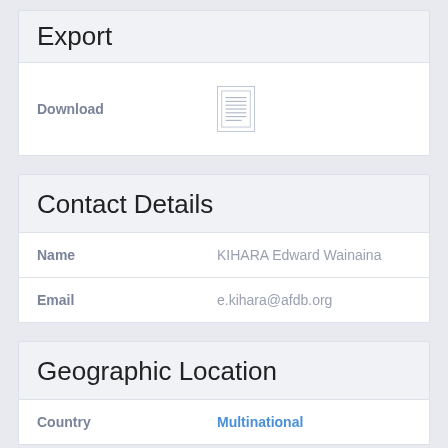Export
| Download |  |
| --- | --- |
| Download | [icon] |
Contact Details
| Field | Value |
| --- | --- |
| Name | KIHARA Edward Wainaina |
| Email | e.kihara@afdb.org |
Geographic Location
| Field | Value |
| --- | --- |
| Country | Multinational |